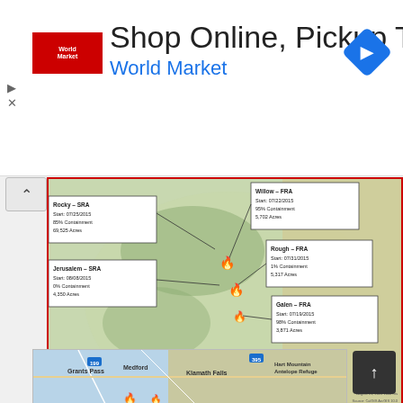[Figure (screenshot): Advertisement banner: Shop Online, Pickup Today - World Market with logo and navigation arrow icon]
[Figure (map): California wildfire incident map showing active fires as of August 2015. Labeled incidents include: Rocky-SRA (Start 07/25/2015, 85% Containment, 69,525 Acres), Jerusalem-SRA (Start 08/08/2015, 0% Containment, 4,350 Acres), Willow-FRA (Start 07/22/2015, 95% Containment, 5,702 Acres), Rough-FRA (Start 07/31/2015, 1% Containment, 5,317 Acres), Galen-FRA (Start 07/19/2015, 98% Containment, 3,871 Acres), DeLuz-SRA (Start 08/09/2015, 10% Containment, 40 Acres). Legend shows New Active Incident (2) in purple and Active Incidents (14) in red.]
[Figure (map): Bottom portion of a road map showing Grants Pass, Medford, Klamath Falls, Hart Mountain Antelope Refuge area with route markers 199, 395, and fire icons visible at bottom.]